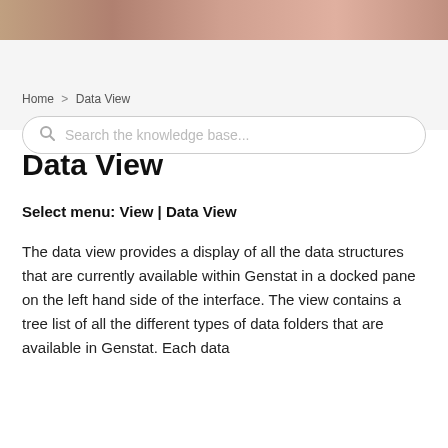[Figure (photo): Decorative image banner at the top of the page with warm reddish-brown tones]
Home > Data View
Search the knowledge base...
Data View
Select menu: View | Data View
The data view provides a display of all the data structures that are currently available within Genstat in a docked pane on the left hand side of the interface. The view contains a tree list of all the different types of data folders that are available in Genstat. Each data